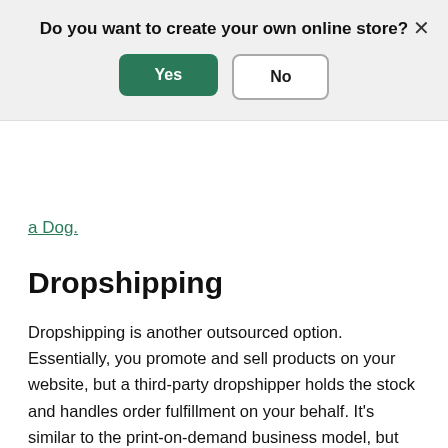Do you want to create your own online store?
Yes
No
a Dog.
Dropshipping
Dropshipping is another outsourced option. Essentially, you promote and sell products on your website, but a third-party dropshipper holds the stock and handles order fulfillment on your behalf. It’s similar to the print-on-demand business model, but dropshipping doesn’t require any printing. Learn more about dropshipping with the